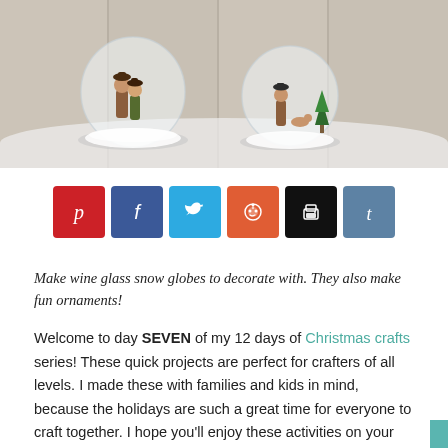[Figure (photo): Two wine glass snow globes with miniature Christmas figurines inside, placed on a white wooden surface with fake snow around them.]
[Figure (infographic): Row of six social sharing buttons: Pinterest (red), Facebook (blue), Twitter (cyan), Reddit (orange), Print (black), Tumblr (slate blue).]
Make wine glass snow globes to decorate with. They also make fun ornaments!
Welcome to day SEVEN of my 12 days of Christmas crafts series! These quick projects are perfect for crafters of all levels. I made these with families and kids in mind, because the holidays are such a great time for everyone to craft together. I hope you'll enjoy these activities on your own or